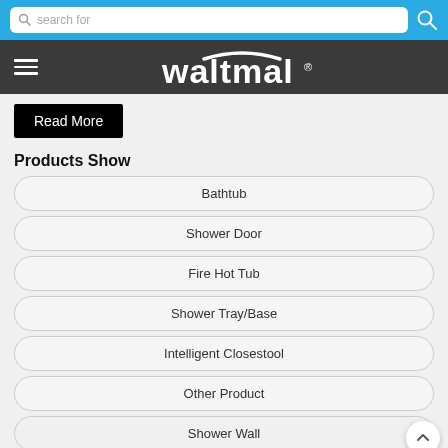search for
[Figure (logo): Waltmal brand logo in white text on dark grey navigation bar]
Read More
Products Show
Bathtub
Shower Door
Fire Hot Tub
Shower Tray/Base
Intelligent Closestool
Other Product
Shower Wall